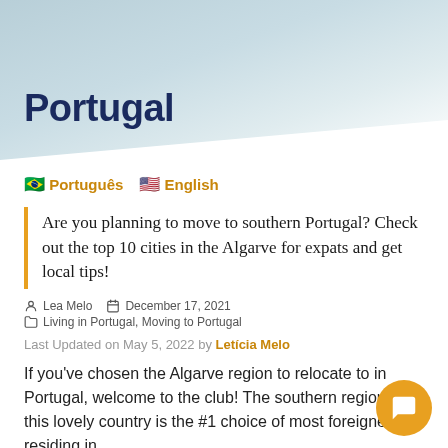Portugal
🇧🇷 Português 🇺🇸 English
Are you planning to move to southern Portugal? Check out the top 10 cities in the Algarve for expats and get local tips!
Lea Melo  December 17, 2021  Living in Portugal, Moving to Portugal
Last Updated on May 5, 2022 by Letícia Melo
If you've chosen the Algarve region to relocate to in Portugal, welcome to the club! The southern region of this lovely country is the #1 choice of most foreigners residing in